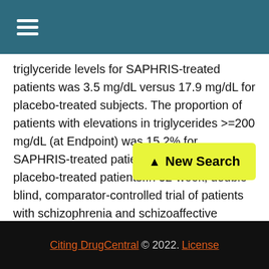triglyceride levels for SAPHRIS-treated patients was 3.5 mg/dL versus 17.9 mg/dL for placebo-treated subjects. The proportion of patients with elevations in triglycerides >=200 mg/dL (at Endpoint) was 15.2% for SAPHRIS-treated patients versus 11.4% for placebo-treated patients.In 52-week, double-blind, comparator-controlled trial of patients with schizophrenia and schizoaffective disorder, the mean decrease from baseline of total cholesterol was mg/dL and the mean decrease from baseline of fasting triglycerides was 9.8 mg/dL.. Transaminases: Transient elevations in serum transaminases (p... short-term schizophrenia and bipolar... more common in treated patients but mean changes were
[Figure (other): New Search button with yellow background and upward arrow]
Citing DrugCentral © 2022. License